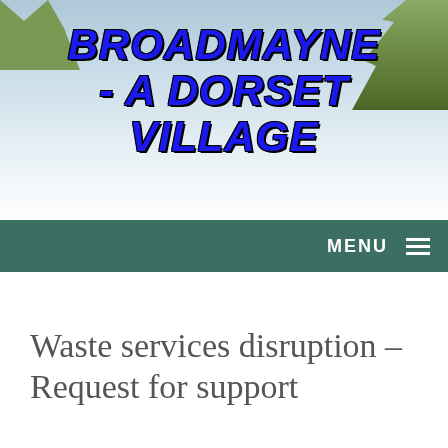[Figure (photo): Website header image showing a snowy/wintry Dorset village scene with bare trees and a stone building, used as background for the site title. Blue sky and winter trees visible.]
BROADMAYNE - A DORSET VILLAGE
MENU
Waste services disruption – Request for support